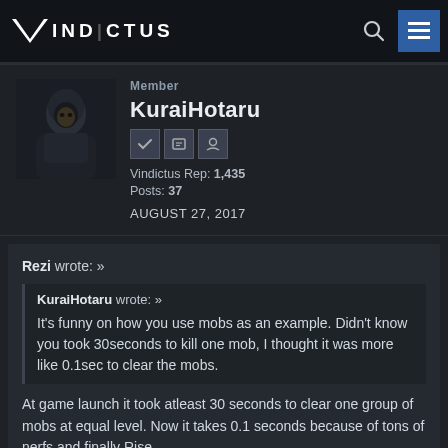VINDICTUS
Member
KuraiHotaru
Vindictus Rep: 1,435
Posts: 37
AUGUST 27, 2017
Rezi wrote: »

KuraiHotaru wrote: »

It's funny on how you use mobs as an example. Didn't know you took 30seconds to kill one mob, I thought it was more like 0.1sec to clear the mobs.

At game launch it took atleast 30 seconds to clear one group of mobs at equal level. Now it takes 0.1 seconds because of tons of nerfs and finally Rise.